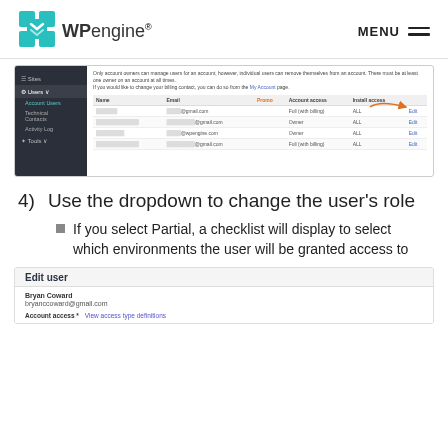WP engine — MENU
[Figure (screenshot): WP Engine admin panel showing Users > Account Users table with columns: Name, Email, Promo, Account access, Install access. Four user rows visible with redacted names/emails. An orange arrow points to an 'Edit' link on the first row.]
4) Use the dropdown to change the user's role
If you select Partial, a checklist will display to select which environments the user will be granted access to
[Figure (screenshot): Edit user panel showing Bryan Coward / bryanccoward@gmail.com and Account access field with View access type definitions link]